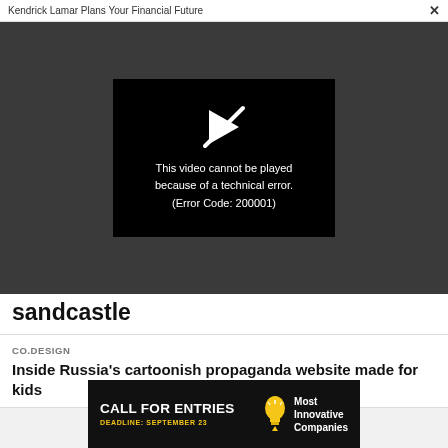Kendrick Lamar Plans Your Financial Future  ×
[Figure (screenshot): Video player showing error message on dark grey background. Black video box with crossed-out play icon and text: This video cannot be played because of a technical error. (Error Code: 200001)]
sandcastle
CO.DESIGN
Inside Russia's cartoonish propaganda website made for kids
[Figure (infographic): Black advertisement banner. Text: CALL FOR ENTRIES (large white bold), DEADLINE: SEPTEMBER 23 (yellow small caps), light bulb icon, Most Innovative Companies (white text)]